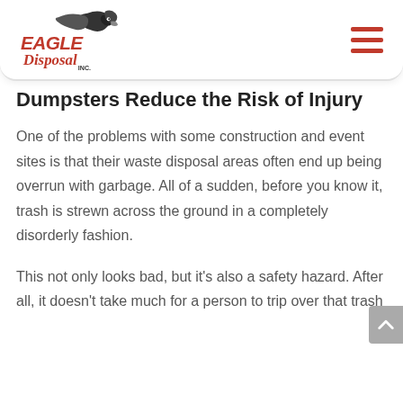Eagle Disposal Inc.
Dumpsters Reduce the Risk of Injury
One of the problems with some construction and event sites is that their waste disposal areas often end up being overrun with garbage. All of a sudden, before you know it, trash is strewn across the ground in a completely disorderly fashion.
This not only looks bad, but it’s also a safety hazard. After all, it doesn’t take much for a person to trip over that trash